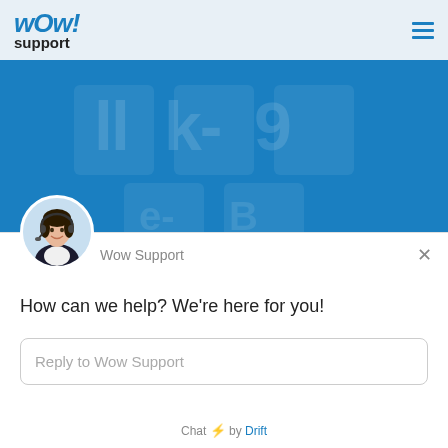[Figure (logo): WOW! Support logo with stylized blue italic text and 'support' in black below]
[Figure (screenshot): Blue hero banner section with faint background watermark text]
[Figure (photo): Circular avatar of a woman wearing a headset, customer support agent]
Wow Support
How can we help? We're here for you!
Reply to Wow Support
Chat ⚡ by Drift